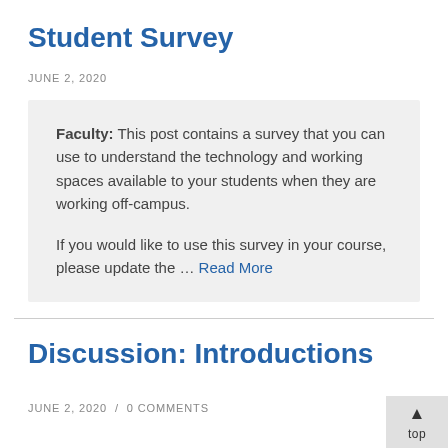Student Survey
JUNE 2, 2020
Faculty: This post contains a survey that you can use to understand the technology and working spaces available to your students when they are working off-campus.

If you would like to use this survey in your course, please update the … Read More
Discussion: Introductions
JUNE 2, 2020  /  0 COMMENTS